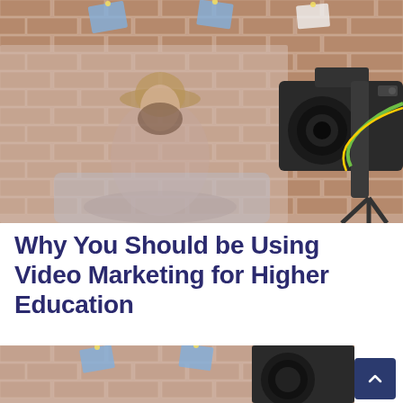[Figure (photo): A young woman in a hat sitting cross-legged on a bed holding a phone, with a professional video camera on a tripod in the foreground, brick wall with pinned papers in the background.]
Why You Should be Using Video Marketing for Higher Education
[Figure (photo): Partial view of the same scene — woman sitting with camera and brick wall, cropped at the bottom of the page.]